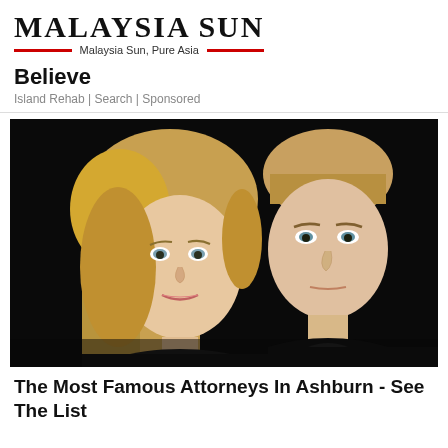Malaysia Sun — Malaysia Sun, Pure Asia
Believe
Island Rehab | Search | Sponsored
[Figure (photo): Photo of a young blonde woman and a man with short brown hair, both looking toward the camera against a dark background.]
The Most Famous Attorneys In Ashburn - See The List